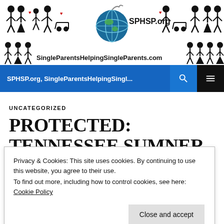[Figure (logo): SPHSP.org SingleParentsHelpingSingleParents.com website banner with stick figure family icons, red hearts, and a globe illustration]
SPHSP.org, SingleParentsHelpingSingl... [search icon] [menu icon]
UNCATEGORIZED
PROTECTED: TENNESSEE SUMNER COUNTY AIRPORT AUTHORITY
Privacy & Cookies: This site uses cookies. By continuing to use this website, you agree to their use.
To find out more, including how to control cookies, see here: Cookie Policy
Close and accept